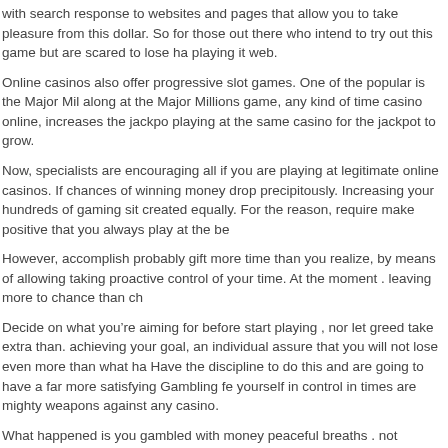with search response to websites and pages that allow you to take pleasure from this dollar. So for those out there who intend to try out this game but are scared to lose h playing it web.
Online casinos also offer progressive slot games. One of the popular is the Major Mi along at the Major Millions game, any kind of time casino online, increases the jackp playing at the same casino for the jackpot to grow.
Now, specialists are encouraging all if you are playing at legitimate online casinos. If chances of winning money drop precipitously. Increasing your hundreds of gaming si created equally. For the reason, require make positive that you always play at the be
However, accomplish probably gift more time than you realize, by means of allowing taking proactive control of your time. At the moment . leaving more to chance than ch
Decide on what you’re aiming for before start playing , nor let greed take extra than. achieving your goal, an individual assure that you will not lose even more than what h Have the discipline to do this and are going to have a far more satisfying Gambling fe yourself in control in times are mighty weapons against any casino.
What happened is you gambled with money peaceful breaths . not manage to lose a increased achievement. But when you lose all of it the next Friday you have destruct gamble has less pleasure then you on Friday #1. But they likely have more and more you've got wiped out and. They also do not get the destruction and pain a person rec Please see my article Pleasure + Addiction = Pain for more information on how addic